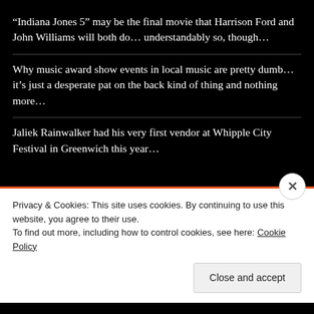“Indiana Jones 5” may be the final movie that Harrison Ford and John Williams will both do… understandably so, though…
Why music award show events in local music are pretty dumb… it’s just a desperate pat on the back kind of thing and nothing more…
Jaliek Rainwalker had his very first vendor at Whipple City Festival in Greenwich this year…
CATEGORIES
Select Category
Privacy & Cookies: This site uses cookies. By continuing to use this website, you agree to their use.
To find out more, including how to control cookies, see here: Cookie Policy
Close and accept